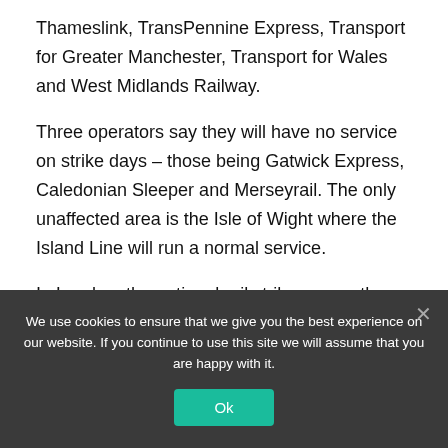Thameslink, TransPennine Express, Transport for Greater Manchester, Transport for Wales and West Midlands Railway.
Three operators say they will have no service on strike days – those being Gatwick Express, Caledonian Sleeper and Merseyrail. The only unaffected area is the Isle of Wight where the Island Line will run a normal service.
In London, the national rail strike means there will be a reduced service on the Overground and Elizabeth line on the three strike days. And the separate Tube
We use cookies to ensure that we give you the best experience on our website. If you continue to use this site we will assume that you are happy with it.